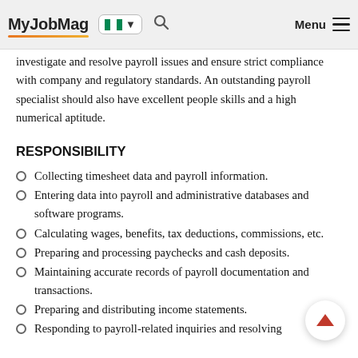MyJobMag [Nigeria flag] Menu
investigate and resolve payroll issues and ensure strict compliance with company and regulatory standards. An outstanding payroll specialist should also have excellent people skills and a high numerical aptitude.
RESPONSIBILITY
Collecting timesheet data and payroll information.
Entering data into payroll and administrative databases and software programs.
Calculating wages, benefits, tax deductions, commissions, etc.
Preparing and processing paychecks and cash deposits.
Maintaining accurate records of payroll documentation and transactions.
Preparing and distributing income statements.
Responding to payroll-related inquiries and resolving issues.